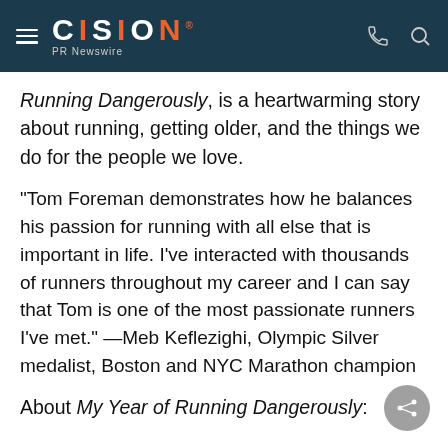CISION PR Newswire
Running Dangerously, is a heartwarming story about running, getting older, and the things we do for the people we love.
"Tom Foreman demonstrates how he balances his passion for running with all else that is important in life. I've interacted with thousands of runners throughout my career and I can say that Tom is one of the most passionate runners I've met." —Meb Keflezighi, Olympic Silver medalist, Boston and NYC Marathon champion
About My Year of Running Dangerously: